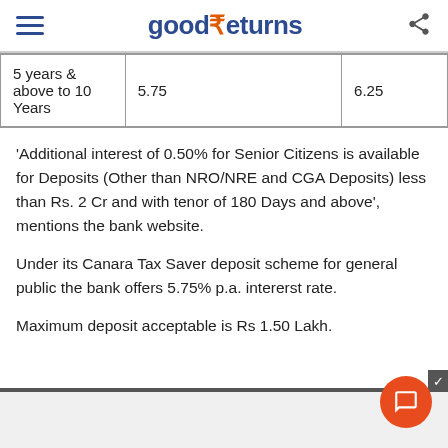good₹eturns
| 5 years & above to 10 Years | 5.75 | 6.25 |
'Additional interest of 0.50% for Senior Citizens is available for Deposits (Other than NRO/NRE and CGA Deposits) less than Rs. 2 Cr and with tenor of 180 Days and above', mentions the bank website.
Under its Canara Tax Saver deposit scheme for general public the bank offers 5.75% p.a. intererst rate.
Maximum deposit acceptable is Rs 1.50 Lakh.